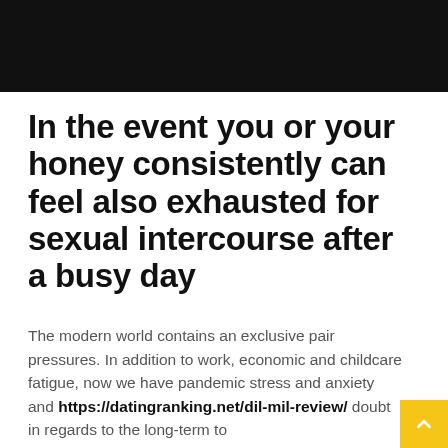In the event you or your honey consistently can feel also exhausted for sexual intercourse after a busy day
The modern world contains an exclusive pair pressures. In addition to work, economic and childcare fatigue, now we have pandemic stress and anxiety and https://datingranking.net/dil-mil-review/ doubt in regards to the long-term to